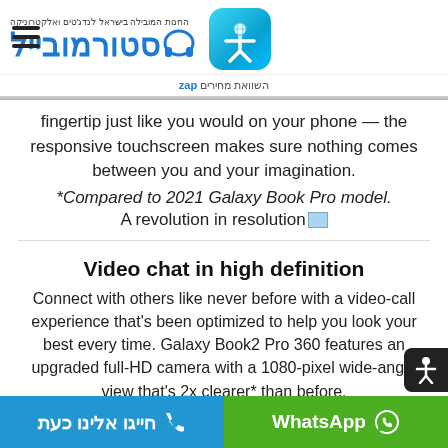[Figure (logo): StorMobile Hebrew electronics store logo with headphones icon and teal app icon, hamburger menu on left, ZAP price comparison bar below]
fingertip just like you would on your phone — the responsive touchscreen makes sure nothing comes between you and your imagination.
*Compared to 2021 Galaxy Book Pro model.
A revolution in resolution
Video chat in high definition
Connect with others like never before with a video-call experience that's been optimized to help you look your best every time. Galaxy Book2 Pro 360 features an upgraded full-HD camera with a 1080-pixel wide-angle view that's 2x clearer* than before.